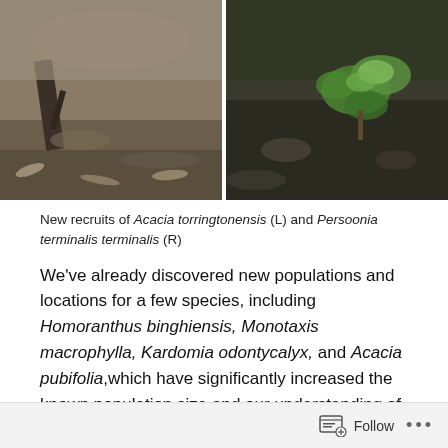[Figure (photo): Two side-by-side photos: left shows rocky ground with dead plant material (Acacia torringtonensis recruit), right shows a small green-leaved seedling on dark rocky ground (Persoonia terminalis terminalis recruit)]
New recruits of Acacia torringtonensis (L) and Persoonia terminalis terminalis (R)
We've already discovered new populations and locations for a few species, including Homoranthus binghiensis, Monotaxis macrophylla, Kardomia odontycalyx, and Acacia pubifolia,which have significantly increased the known population size and our understanding of these species in general.
[Figure (photo): Partial photo of trees with bare branches against a sky, cropped at bottom of page]
Follow